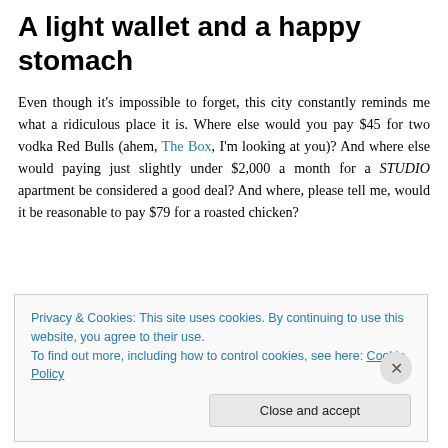A light wallet and a happy stomach
Even though it's impossible to forget, this city constantly reminds me what a ridiculous place it is. Where else would you pay $45 for two vodka Red Bulls (ahem, The Box, I'm looking at you)? And where else would paying just slightly under $2,000 a month for a STUDIO apartment be considered a good deal? And where, please tell me, would it be reasonable to pay $79 for a roasted chicken?
Privacy & Cookies: This site uses cookies. By continuing to use this website, you agree to their use.
To find out more, including how to control cookies, see here: Cookie Policy
Close and accept